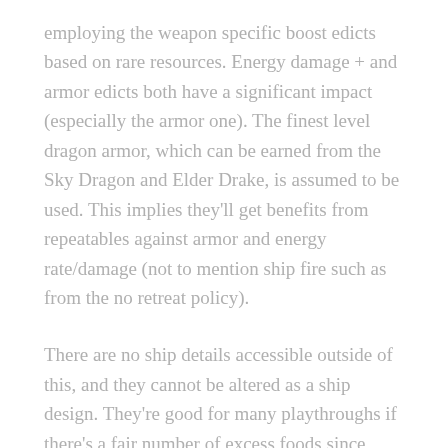employing the weapon specific boost edicts based on rare resources. Energy damage + and armor edicts both have a significant impact (especially the armor one). The finest level dragon armor, which can be earned from the Sky Dragon and Elder Drake, is assumed to be used. This implies they'll get benefits from repeatables against armor and energy rate/damage (not to mention ship fire such as from the no retreat policy).
There are no ship details accessible outside of this, and they cannot be altered as a ship design. They're good for many playthroughs if there's a fair number of excess foods since upkeep is food rather than energy credits and alloys: